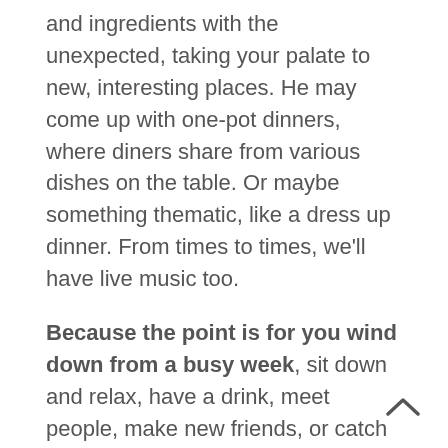and ingredients with the unexpected, taking your palate to new, interesting places. He may come up with one-pot dinners, where diners share from various dishes on the table. Or maybe something thematic, like a dress up dinner. From times to times, we'll have live music too.
Because the point is for you wind down from a busy week, sit down and relax, have a drink, meet people, make new friends, or catch up with old ones, we won't be selling it as takeaway.
A limited choice of galettes and dessert crêpes will be available.
The weekly Friday Family Dinner's menu will be